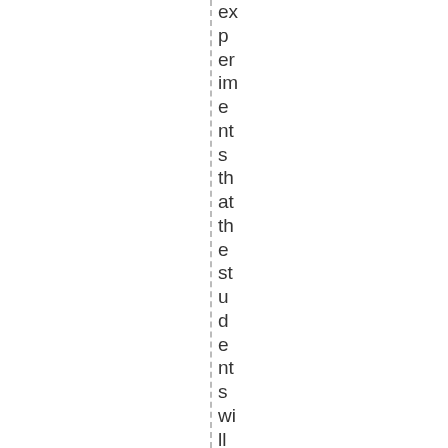experiments that the students will perform, underg